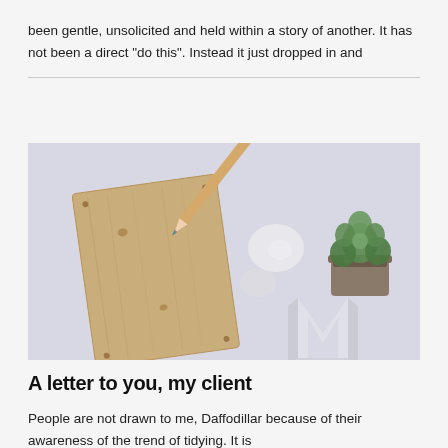been gentle, unsolicited and held within a story of another. It has not been a direct "do this". Instead it just dropped in and
[Figure (photo): Flat lay photo of a wooden notebook/clipboard with a pencil on it, two white smooth stones, a small succulent plant in a pot, and a white letter M, all arranged on a light lavender/grey surface.]
A letter to you, my client
People are not drawn to me, Daffodillar because of their awareness of the trend of tidying. It is